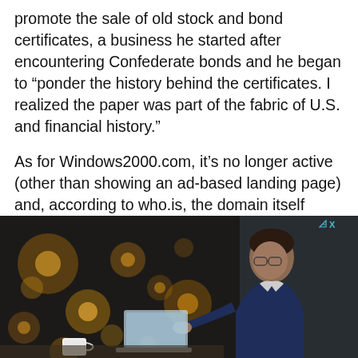promote the sale of old stock and bond certificates, a business he started after encountering Confederate bonds and he began to “ponder the history behind the certificates. I realized the paper was part of the fabric of U.S. and financial history.”
As for Windows2000.com, it’s no longer active (other than showing an ad-based landing page) and, according to who.is, the domain itself doesn’t appear to be owned by Microsoft anymore.
[Figure (photo): A man in a dark blue suit wearing glasses sits at a desk working on a laptop, photographed in profile. The background features warm bokeh lights (golden circles on a dark background), giving a moody, atmospheric feel. A white coffee cup is visible in the foreground.]